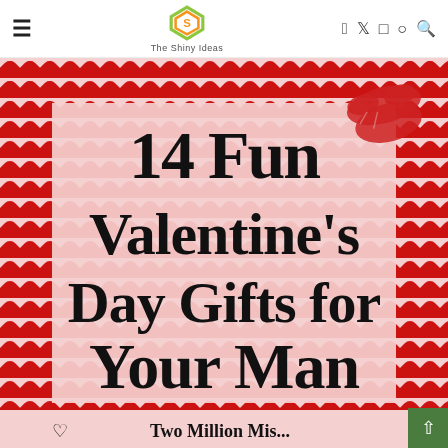The Shiny Ideas
[Figure (illustration): Valentine's Day themed image with red and white chevron zigzag border pattern on pink background, a red lipstick kiss mark in upper right, large black serif text reading '14 Fun Valentine's Day Gifts for Your Man', with partial bottom text 'Two Million Mis...' and a small heart symbol]
14 Fun Valentine's Day Gifts for Your Man